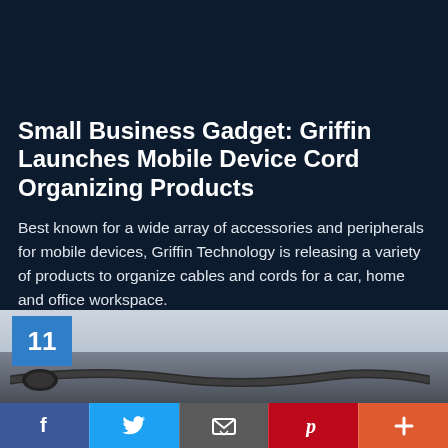[Figure (photo): Top photo showing an orange/red gradient background with a cable plug/connector visible]
Small Business Gadget: Griffin Launches Mobile Device Cord Organizing Products
Best known for a wide array of accessories and peripherals for mobile devices, Griffin Technology is releasing a variety of products to organize cables and cords for a car, home and office workspace.
[Figure (photo): Bottom photo showing a close-up of a dark cable/cord on a grey surface with a blue number badge '11' in the top-left corner]
11
f  Twitter bird  Email icon  p  +